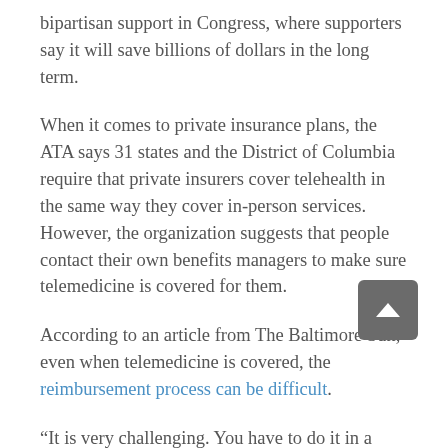bipartisan support in Congress, where supporters say it will save billions of dollars in the long term.
When it comes to private insurance plans, the ATA says 31 states and the District of Columbia require that private insurers cover telehealth in the same way they cover in-person services. However, the organization suggests that people contact their own benefits managers to make sure telemedicine is covered for them.
According to an article from The Baltimore Sun, even when telemedicine is covered, the reimbursement process can be difficult.
“It is very challenging. You have to do it in a special way and meet certain criteria,” said Dr. Marc T. Zubrow, vice president of telemedicine at the